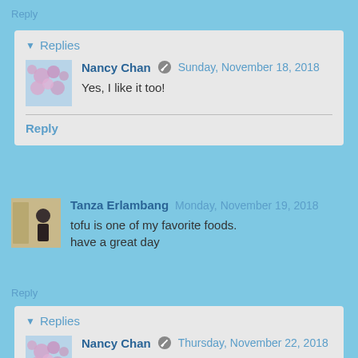Reply
Replies
Nancy Chan  Sunday, November 18, 2018
Yes, I like it too!
Reply
Tanza Erlambang  Monday, November 19, 2018
tofu is one of my favorite foods.
have a great day
Reply
Replies
Nancy Chan  Thursday, November 22, 2018
Thank you, Tanza! Have a great day too!